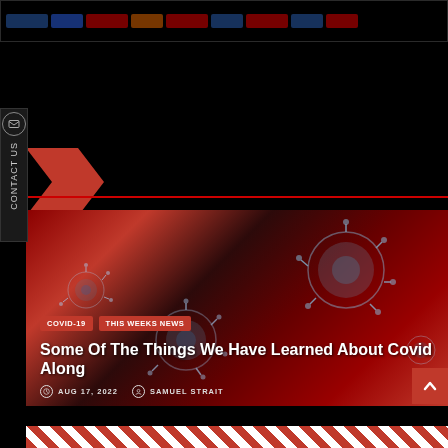Navigation bar with category buttons
[Figure (screenshot): Contact Us vertical tab with envelope icon on left side]
[Figure (illustration): Red angular chevron/arrow shape]
[Figure (photo): COVID-19 virus particles on red background - article card image]
COVID-19
THIS WEEKS NEWS
Some Of The Things We Have Learned About Covid Along
AUG 17, 2022
SAMUEL STRAIT
[Figure (illustration): Red and white diagonal striped bottom strip]